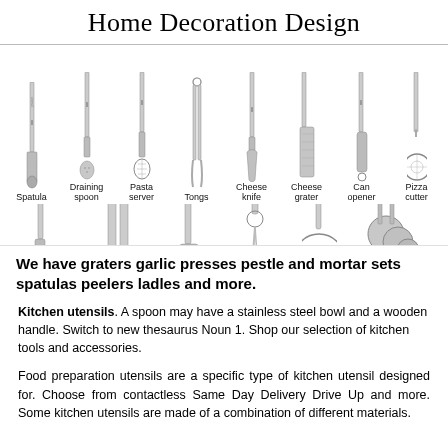Home Decoration Design
[Figure (illustration): Two rows of kitchen utensils (spatula, draining spoon, pasta server, tongs, cheese knife, cheese grater, can opener, pizza cutter in top row; ice cream scoop, garlic press, peeler, wine opener, tea strainer, measuring cups/spoons in bottom row) shown as line-art style images with labels beneath each utensil.]
We have graters garlic presses pestle and mortar sets spatulas peelers ladles and more.
Kitchen utensils. A spoon may have a stainless steel bowl and a wooden handle. Switch to new thesaurus Noun 1. Shop our selection of kitchen tools and accessories.
Food preparation utensils are a specific type of kitchen utensil designed for. Choose from contactless Same Day Delivery Drive Up and more. Some kitchen utensils are made of a combination of different materials.